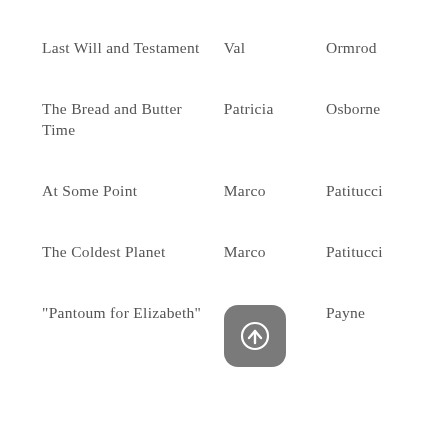| Title | First Name | Last Name |
| --- | --- | --- |
| Last Will and Testament | Val | Ormrod |
| The Bread and Butter Time | Patricia | Osborne |
| At Some Point | Marco | Patitucci |
| The Coldest Planet | Marco | Patitucci |
| "Pantoum for Elizabeth" |  | Payne |